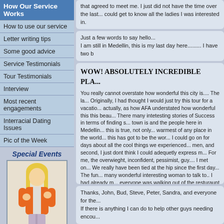How Our Service Works
How to use our service
Letter writing tips
Some good advice
Service Testimonials
Tour Testimonials
Interview
Most recent engagements
Interracial Dating Issues
Pic of the Week
Special Events
[Figure (photo): Woman with blonde hair wearing an orange jacket and light purple pants, posing against white background]
that agreed to meet me. I just did not have the time over the last... could get to know all the ladies I was interested in.
Just a few words to say hello...
I am still in Medellin, this is my last day here......... I have two b
WOW! ABSOLUTELY INCREDIBLE PLA...
You really cannot overstate how wonderful this city is.... The la... Originally, I had thought I would just try this tour for a vacatio... actually, as how AFA understated how wonderful this this beau... There many intetesting stories of Success in terms of finding s... town is and the people here in Medellin... this is true, not only... warmest of any place in the world... this has got to be the wor... I could go on for days about all the cool things we experienced... men, and second, I just dont think I could adequetly express m... For me, the overwieght, inconfident, pessimist, guy.... I met on... We really have been tied at the hip since the first day... The fun... many wonderful interesting woman to talk to.. I had already m... everyone was walking out of the resturaunt where the social w... aproached and, jokingly, gave me a hard time about not comin... went out after that for some conversation and have been tied at... Some of the others, did great too... One of the coolest stories is... and really a neat lady, they hit it off pretty well.. I am not sure... funny things about that story was, that I ended up being the tra... I can not forget to mention how wonderful the staff at Medellin... took care of everything including taking me on a personal sho... here... Milena, Adrianna, Rownal, as well as the interpretors R... anyplace... the service was just without a doubt, better than any... service...
Thanks, John, Bud, Steve, Peter, Sandra, and everyone for the...
If there is anything I can do to help other guys needing encou...